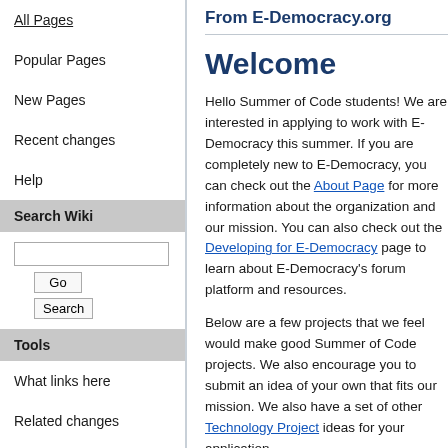From E-Democracy.org
Welcome
Hello Summer of Code students! We are interested in applying to work with E-Democracy this summer. If you are completely new to E-Democracy, you can check out the About Page for more information about the organization and our mission. You can also check out the Developing for E-Democracy page to learn about E-Democracy's forum platform and resources.
Below are a few projects that we feel would make good Summer of Code projects. We also encourage you to submit an idea of your own that fits our mission. We also have a set of other Technology Project ideas for your application.
Project Ideas
Mobile Posting
All Pages
Popular Pages
New Pages
Recent changes
Help
Search Wiki
What links here
Related changes